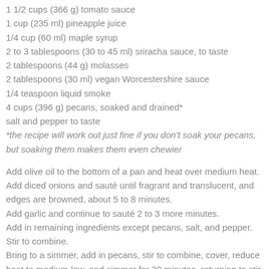1 1/2 cups (366 g) tomato sauce
1 cup (235 ml) pineapple juice
1/4 cup (60 ml) maple syrup
2 to 3 tablespoons (30 to 45 ml) sriracha sauce, to taste
2 tablespoons (44 g) molasses
2 tablespoons (30 ml) vegan Worcestershire sauce
1/4 teaspoon liquid smoke
4 cups (396 g) pecans, soaked and drained*
salt and pepper to taste
*the recipe will work out just fine if you don’t soak your pecans, but soaking them makes them even chewier
Add olive oil to the bottom of a pan and heat over medium heat.
Add diced onions and sauté until fragrant and translucent, and edges are browned, about 5 to 8 minutes.
Add garlic and continue to sauté 2 to 3 more minutes.
Add in remaining ingredients except pecans, salt, and pepper. Stir to combine.
Bring to a simmer, add in pecans, stir to combine, cover, reduce heat to medium-low, and simmer for 20 minutes, returning to stir halfway through.